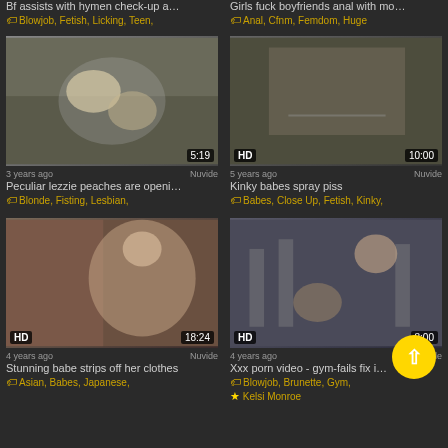Bf assists with hymen check-up a…
🏷 Blowjob, Fetish, Licking, Teen,
Girls fuck boyfriends anal with mo…
🏷 Anal, Cfnm, Femdom, Huge
[Figure (photo): Video thumbnail - two women kissing, blonde hair, duration 5:19]
3 years ago   Nuvide
Peculiar lezzie peaches are openi…
🏷 Blonde, Fisting, Lesbian,
[Figure (photo): Video thumbnail - close up shot, HD badge, duration 10:00]
5 years ago   Nuvide
Kinky babes spray piss
🏷 Babes, Close Up, Fetish, Kinky,
[Figure (photo): Video thumbnail - woman posing, HD badge, duration 18:24]
4 years ago   Nuvide
Stunning babe strips off her clothes
🏷 Asian, Babes, Japanese,
[Figure (photo): Video thumbnail - gym scene, HD badge, duration 8:00]
4 years ago   Nuvide
Xxx porn video - gym-fails fix i…
🏷 Blowjob, Brunette, Gym,
★ Kelsi Monroe